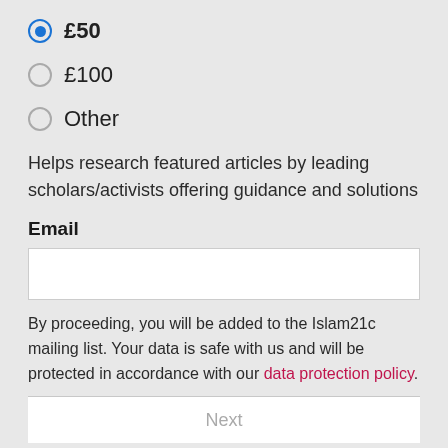£50 (selected)
£100
Other
Helps research featured articles by leading scholars/activists offering guidance and solutions
Email
By proceeding, you will be added to the Islam21c mailing list. Your data is safe with us and will be protected in accordance with our data protection policy.
Next